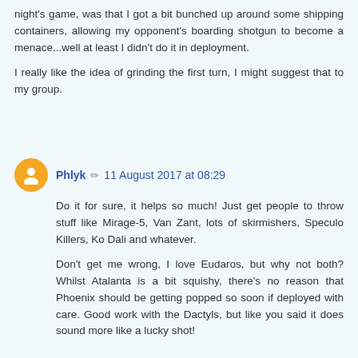night's game, was that I got a bit bunched up around some shipping containers, allowing my opponent's boarding shotgun to become a menace...well at least I didn't do it in deployment.
I really like the idea of grinding the first turn, I might suggest that to my group.
Phlyk  11 August 2017 at 08:29
Do it for sure, it helps so much! Just get people to throw stuff like Mirage-5, Van Zant, lots of skirmishers, Speculo Killers, Ko Dali and whatever.
Don't get me wrong, I love Eudaros, but why not both? Whilst Atalanta is a bit squishy, there's no reason that Phoenix should be getting popped so soon if deployed with care. Good work with the Dactyls, but like you said it does sound more like a lucky shot!